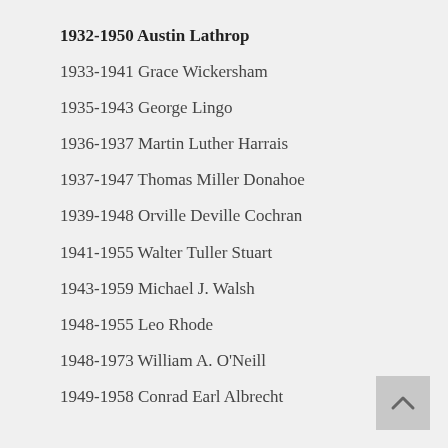1932-1950 Austin Lathrop
1933-1941 Grace Wickersham
1935-1943 George Lingo
1936-1937 Martin Luther Harrais
1937-1947 Thomas Miller Donahoe
1939-1948 Orville Deville Cochran
1941-1955 Walter Tuller Stuart
1943-1959 Michael J. Walsh
1948-1955 Leo Rhode
1948-1973 William A. O'Neill
1949-1958 Conrad Earl Albrecht